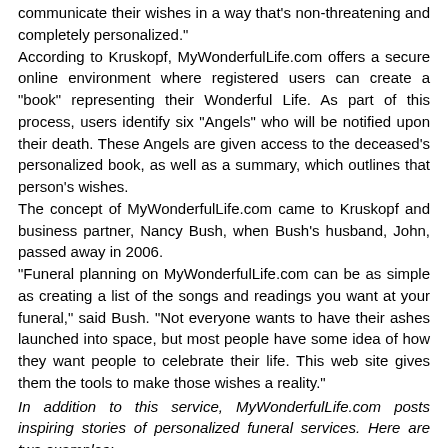communicate their wishes in a way that's non-threatening and completely personalized."
According to Kruskopf, MyWonderfulLife.com offers a secure online environment where registered users can create a "book" representing their Wonderful Life. As part of this process, users identify six "Angels" who will be notified upon their death. These Angels are given access to the deceased's personalized book, as well as a summary, which outlines that person's wishes.
The concept of MyWonderfulLife.com came to Kruskopf and business partner, Nancy Bush, when Bush's husband, John, passed away in 2006.
"Funeral planning on MyWonderfulLife.com can be as simple as creating a list of the songs and readings you want at your funeral," said Bush. "Not everyone wants to have their ashes launched into space, but most people have some idea of how they want people to celebrate their life. This web site gives them the tools to make those wishes a reality."
In addition to this service, MyWonderfulLife.com posts inspiring stories of personalized funeral services. Here are two examples:
[Figure (photo): Outdoor crowd photo, partially visible at bottom of page, showing people gathered outdoors near some structures.]